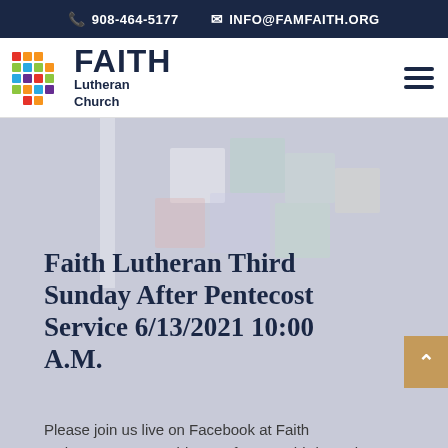908-464-5177  INFO@FAMFAITH.ORG
[Figure (logo): Faith Lutheran Church logo with colorful cross made of squares and text 'FAITH Lutheran Church']
Faith Lutheran Third Sunday After Pentecost Service 6/13/2021 10:00 A.M.
Please join us live on Facebook at Faith Lutheran, New Providence for our Third Sunday after Pentecost service You may find the current and